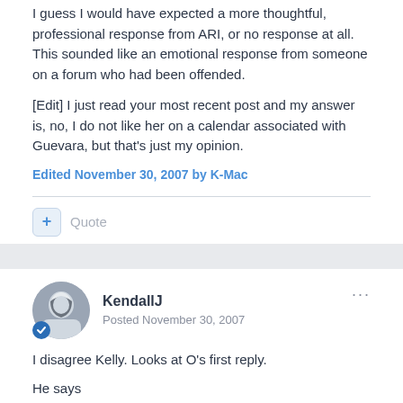I guess I would have expected a more thoughtful, professional response from ARI, or no response at all. This sounded like an emotional response from someone on a forum who had been offended.
[Edit] I just read your most recent post and my answer is, no, I do not like her on a calendar associated with Guevara, but that's just my opinion.
Edited November 30, 2007 by K-Mac
Quote
KendallJ
Posted November 30, 2007
I disagree Kelly. Looks at O's first reply.
He says